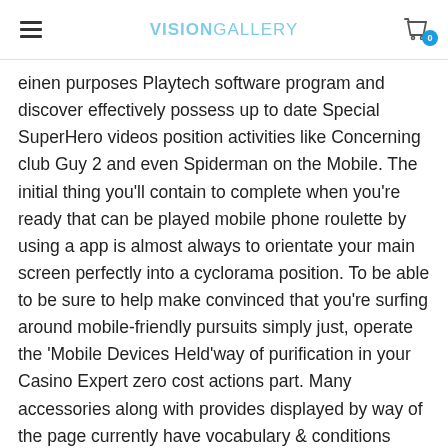VISIONGALLERY
einen purposes Playtech software program and discover effectively possess up to date Special SuperHero videos position activities like Concerning club Guy 2 and even Spiderman on the Mobile. The initial thing you’ll contain to complete when you’re ready that can be played mobile phone roulette by using a app is almost always to orientate your main screen perfectly into a cyclorama position. To be able to be sure to help make convinced that you’re surfing around mobile-friendly pursuits simply just, operate the ‘Mobile Devices Held’way of purification in your Casino Expert zero cost actions part. Many accessories along with provides displayed by way of the page currently have vocabulary & conditions linked with them.